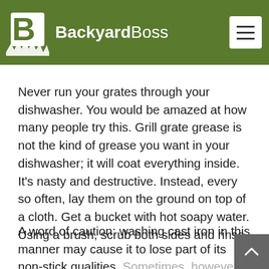BackyardBoss
Never run your grates through your dishwasher. You would be amazed at how many people try this. Grill grate grease is not the kind of grease you want in your dishwasher; it will coat everything inside. It's nasty and destructive. Instead, every so often, lay them on the ground on top of a cloth. Get a bucket with hot soapy water. Using a brush, scrub both sides and rinse.
A word of caution: washing cast iron in this manner may cause it to lose part of its non-stick qualities. Sometimes, however, you simply don't have a choice, especially if rust is present. Just be sure to completely dry and then oil cast iron after washing.